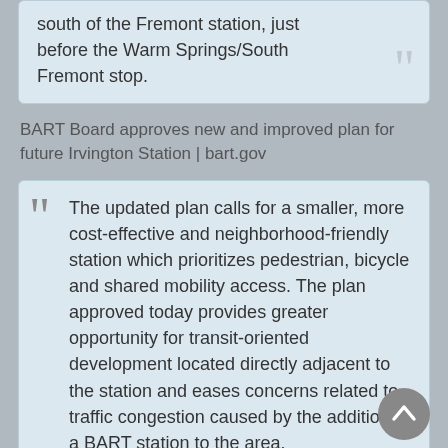south of the Fremont station, just before the Warm Springs/South Fremont stop.
BART Board approves new and improved plan for future Irvington Station | bart.gov
The updated plan calls for a smaller, more cost-effective and neighborhood-friendly station which prioritizes pedestrian, bicycle and shared mobility access. The plan approved today provides greater opportunity for transit-oriented development located directly adjacent to the station and eases concerns related to traffic congestion caused by the addition of a BART station to the area.
Irvington BART Station | City of Fremont Official